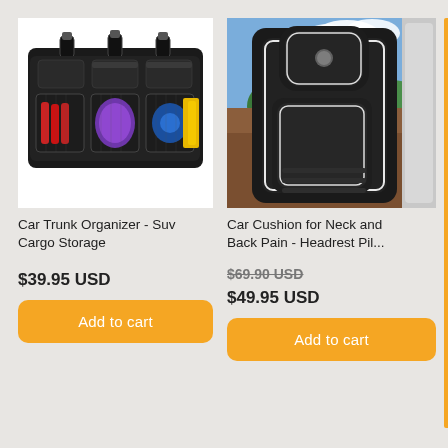[Figure (photo): Car trunk organizer with multiple pockets and mesh compartments holding bottles and bags]
Car Trunk Organizer - Suv Cargo Storage
$39.95 USD
Add to cart
[Figure (photo): Car seat with black leather cushion and headrest/neck pillow support against scenic background]
Car Cushion for Neck and Back Pain - Headrest Pil...
$69.90 USD (original, struck through)
$49.95 USD
Add to cart